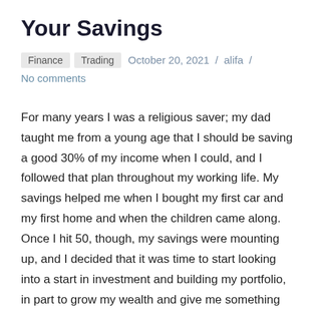Your Savings
Finance   Trading   October 20, 2021 / alifa /
No comments
For many years I was a religious saver; my dad taught me from a young age that I should be saving a good 30% of my income when I could, and I followed that plan throughout my working life. My savings helped me when I bought my first car and my first home and when the children came along. Once I hit 50, though, my savings were mounting up, and I decided that it was time to start looking into a start in investment and building my portfolio, in part to grow my wealth and give me something exciting to do with my time. Today, I wanted to show you how I have